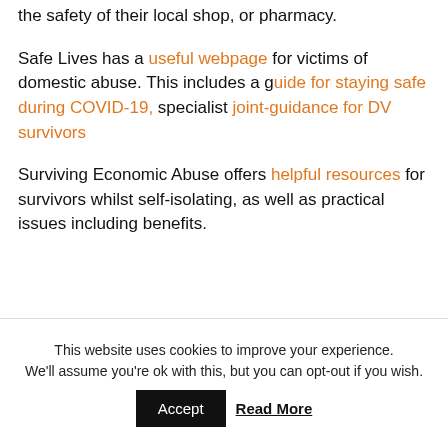the safety of their local shop, or pharmacy.
Safe Lives has a useful webpage for victims of domestic abuse. This includes a guide for staying safe during COVID-19, specialist joint-guidance for DV survivors
Surviving Economic Abuse offers helpful resources for survivors whilst self-isolating, as well as practical issues including benefits.
This website uses cookies to improve your experience. We'll assume you're ok with this, but you can opt-out if you wish.